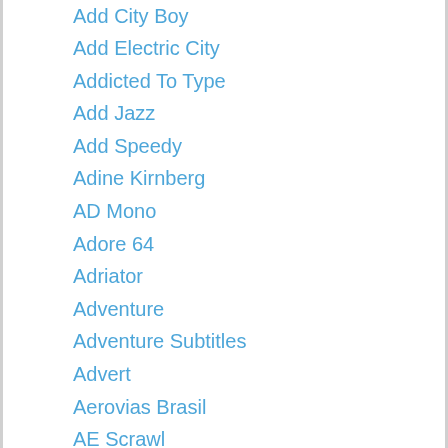Add City Boy
Add Electric City
Addicted To Type
Add Jazz
Add Speedy
Adine Kirnberg
AD Mono
Adore 64
Adriator
Adventure
Adventure Subtitles
Advert
Aerovias Brasil
AE Scrawl
AE Systematic
Aetherfox
A Font For The Computer People
African
Aftermath